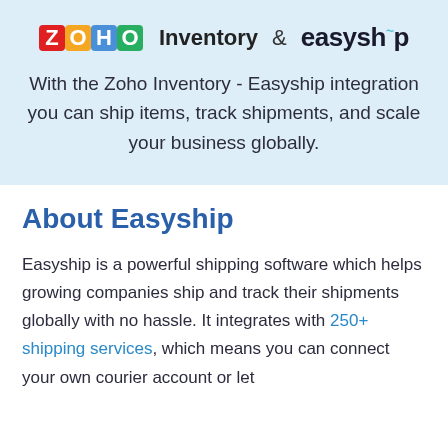[Figure (logo): ZOHO Inventory & easyship logos side by side. ZOHO displayed as colored letter blocks (red Z, orange O, blue H, green O), followed by 'Inventory' text, an ampersand, and the easyship logo in bold dark text.]
With the Zoho Inventory - Easyship integration you can ship items, track shipments, and scale your business globally.
About Easyship
Easyship is a powerful shipping software which helps growing companies ship and track their shipments globally with no hassle. It integrates with 250+ shipping services, which means you can connect your own courier account or let